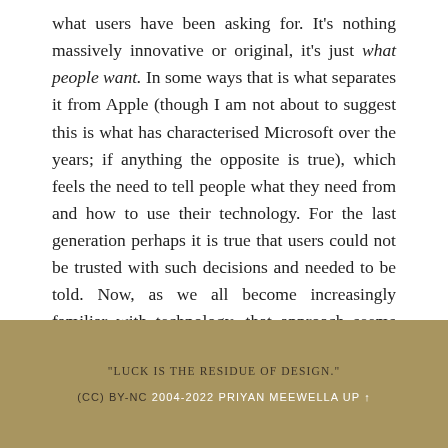what users have been asking for. It's nothing massively innovative or original, it's just what people want. In some ways that is what separates it from Apple (though I am not about to suggest this is what has characterised Microsoft over the years; if anything the opposite is true), which feels the need to tell people what they need from and how to use their technology. For the last generation perhaps it is true that users could not be trusted with such decisions and needed to be told. Now, as we all become increasingly familiar with technology, that approach seems just a little bit backward.
0 COMMENTS
"LUCK IS THE RESIDUE OF DESIGN." (CC) BY-NC 2004-2022 PRIYAN MEEWELLA UP ↑